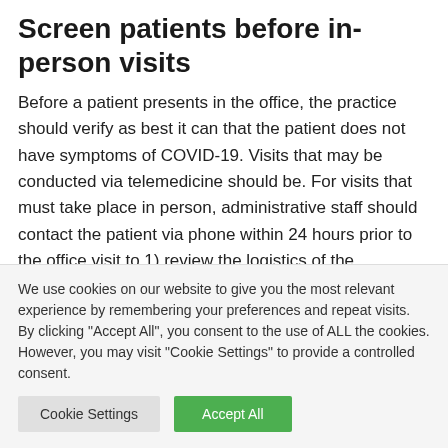Screen patients before in-person visits
Before a patient presents in the office, the practice should verify as best it can that the patient does not have symptoms of COVID-19. Visits that may be conducted via telemedicine should be. For visits that must take place in person, administrative staff should contact the patient via phone within 24 hours prior to the office visit to 1) review the logistics of the reopening practice protocol and 2) screen the patient for COVID-19 symptoms. Utilize a script
We use cookies on our website to give you the most relevant experience by remembering your preferences and repeat visits. By clicking "Accept All", you consent to the use of ALL the cookies. However, you may visit "Cookie Settings" to provide a controlled consent.